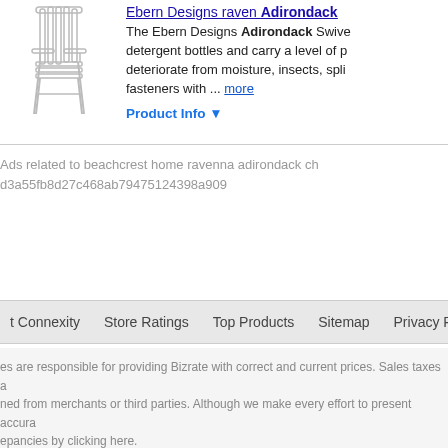Ebern Designs raven Adirondack... (product title link, truncated)
The Ebern Designs Adirondack Swive... detergent bottles and carry a level of p... deteriorate from moisture, insects, spli... fasteners with ... more
Product Info ▼
Ads related to beachcrest home ravenna adirondack ch... d3a55fb8d27c468ab79475124398a909
t Connexity   Store Ratings   Top Products   Sitemap   Privacy Policy   User Agreement
es are responsible for providing Bizrate with correct and current prices. Sales taxes a... ned from merchants or third parties. Although we make every effort to present accura... epancies by clicking here.
e ratings and product reviews are submitted by online shoppers; they do not reflect ou...
22 Connexity, Inc. / Bizrate is a division of Connexity, Inc.